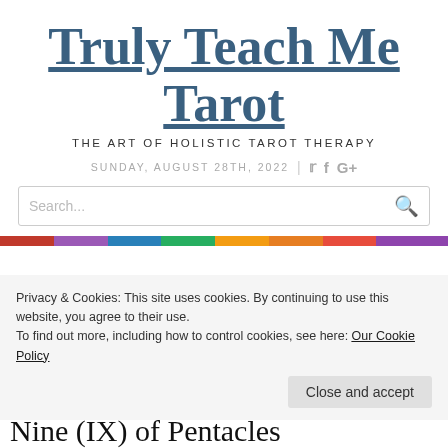Truly Teach Me Tarot
THE ART OF HOLISTIC TAROT THERAPY
SUNDAY, AUGUST 28TH, 2022
Privacy & Cookies: This site uses cookies. By continuing to use this website, you agree to their use.
To find out more, including how to control cookies, see here: Our Cookie Policy
Close and accept
Nine (IX) of Pentacles